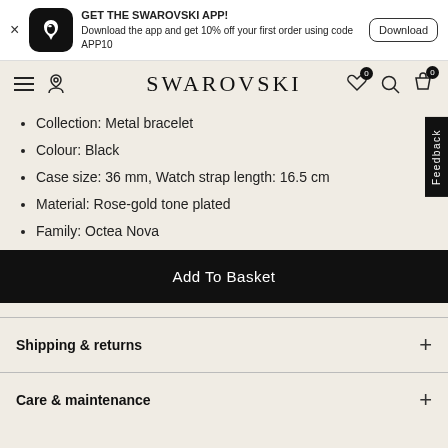GET THE SWAROVSKI APP! Download the app and get 10% off your first order using code APP10
SWAROVSKI
Collection: Metal bracelet
Colour: Black
Case size: 36 mm, Watch strap length: 16.5 cm
Material: Rose-gold tone plated
Family: Octea Nova
Add To Basket
Shipping & returns
Care & maintenance